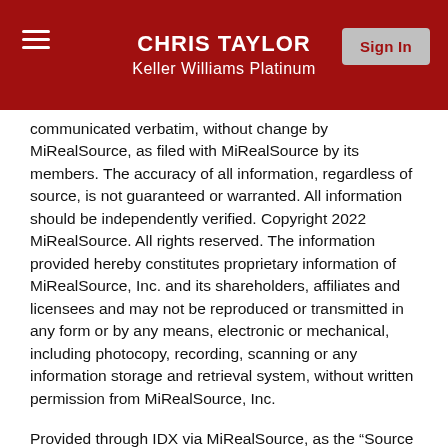CHRIS TAYLOR
Keller Williams Platinum
communicated verbatim, without change by MiRealSource, as filed with MiRealSource by its members. The accuracy of all information, regardless of source, is not guaranteed or warranted. All information should be independently verified. Copyright 2022 MiRealSource. All rights reserved. The information provided hereby constitutes proprietary information of MiRealSource, Inc. and its shareholders, affiliates and licensees and may not be reproduced or transmitted in any form or by any means, electronic or mechanical, including photocopy, recording, scanning or any information storage and retrieval system, without written permission from MiRealSource, Inc.
Provided through IDX via MiRealSource, as the “Source MLS”, courtesy of the Originating MLS shown on the property listing, as the Originating MLS. The information published and disseminated by the Originating MLS is communicated verbatim, without change by the Originating MLS, as filed with it by its members. The accuracy of all information, regardless of source, is not guaranteed or